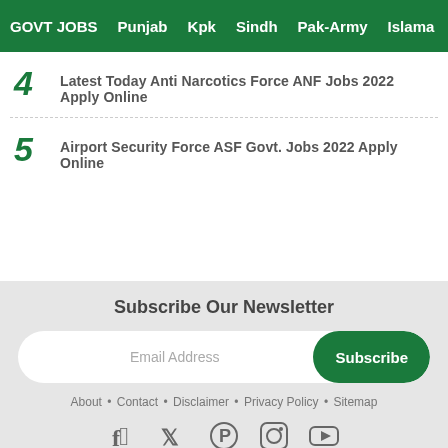GOVT JOBS  Punjab  Kpk  Sindh  Pak-Army  Islama
4  Latest Today Anti Narcotics Force ANF Jobs 2022 Apply Online
5  Airport Security Force ASF Govt. Jobs 2022 Apply Online
Subscribe Our Newsletter
Email Address  Subscribe
About • Contact • Disclaimer • Privacy Policy • Sitemap
[Figure (other): Social media icons: Facebook, Twitter, Pinterest, Instagram, YouTube]
Copyright © 2022
Copyright (c) 2021 PAK24JOBS All Right Reseved
Theme by Igniel